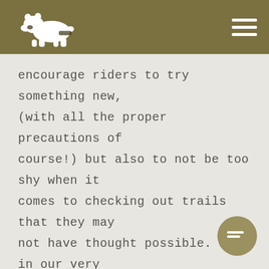Bear logo and navigation menu
encourage riders to try something new, (with all the proper precautions of course!) but also to not be too shy when it comes to checking out trails that they may not have thought possible. It's in our very slogan, "Rise Up and Seek Adventure." We really mean it.
Thank you to Mati & Jenn for sharing your story with us.